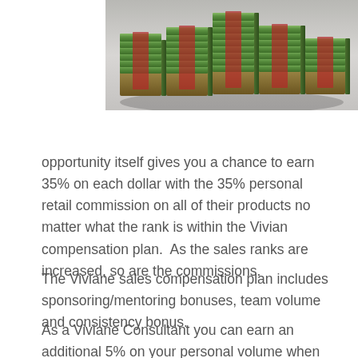[Figure (photo): Photo of stacks of bundled US dollar bills arranged on a surface, partially cropped at top of page]
opportunity itself gives you a chance to earn 35% on each dollar with the 35% personal retail commission on all of their products no matter what the rank is within the Vivian compensation plan.  As the sales ranks are increased, so are the commissions.
The Viviane sales compensation plan includes sponsoring/mentoring bonuses, team volume and consistency bonus.
As a Viviane Consultant you can earn an additional 5% on your personal volume when you are paid as a